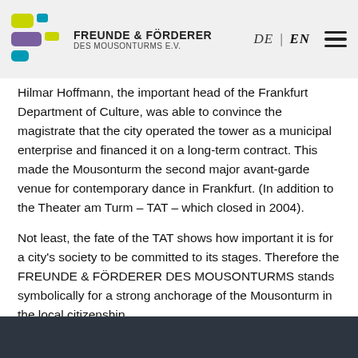FREUNDE & FÖRDERER DES MOUSONTURMS E.V. | DE | EN
Hilmar Hoffmann, the important head of the Frankfurt Department of Culture, was able to convince the magistrate that the city operated the tower as a municipal enterprise and financed it on a long-term contract. This made the Mousonturm the second major avant-garde venue for contemporary dance in Frankfurt. (In addition to the Theater am Turm – TAT – which closed in 2004).
Not least, the fate of the TAT shows how important it is for a city's society to be committed to its stages. Therefore the FREUNDE & FÖRDERER DES MOUSONTURMS stands symbolically for a strong anchorage of the Mousonturm in the local citizenship.